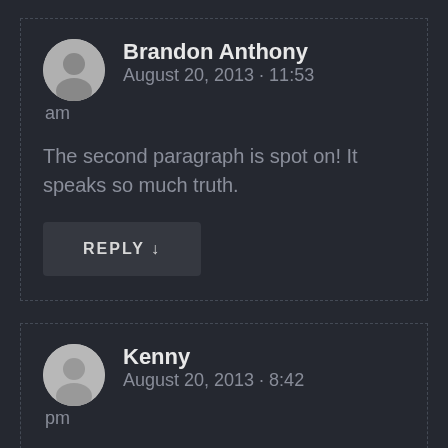Brandon Anthony
August 20, 2013 · 11:53 am
The second paragraph is spot on! It speaks so much truth.
REPLY ↓
Kenny
August 20, 2013 · 8:42 pm